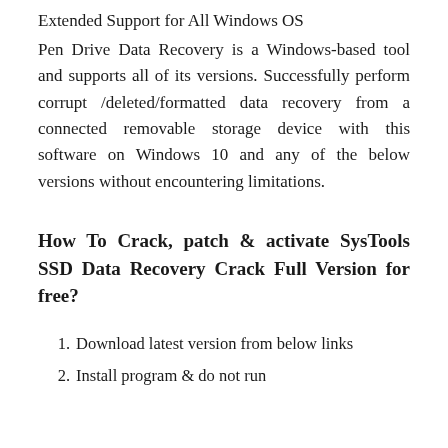Extended Support for All Windows OS
Pen Drive Data Recovery is a Windows-based tool and supports all of its versions. Successfully perform corrupt /deleted/formatted data recovery from a connected removable storage device with this software on Windows 10 and any of the below versions without encountering limitations.
How To Crack, patch & activate SysTools SSD Data Recovery Crack Full Version for free?
Download latest version from below links
Install program & do not run